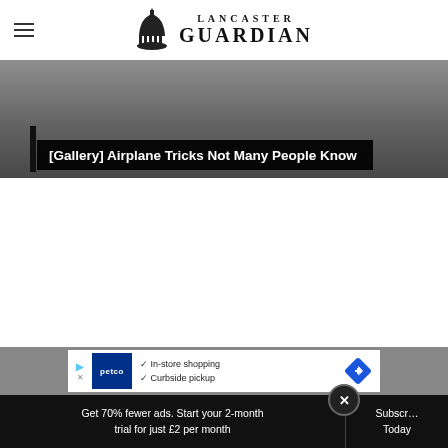Lancaster Guardian
[Figure (photo): Banner image with dark overlay showing text '[Gallery] Airplane Tricks Not Many People Know' on a black background bar]
[Gallery] Airplane Tricks Not Many People Know
[Figure (infographic): Petco advertisement banner: In-store shopping, Curbside pickup with checkmarks, Petco logo and navigation arrow icon]
Get 70% fewer ads. Start your 2-month trial for just £2 per month
Subscribe Today